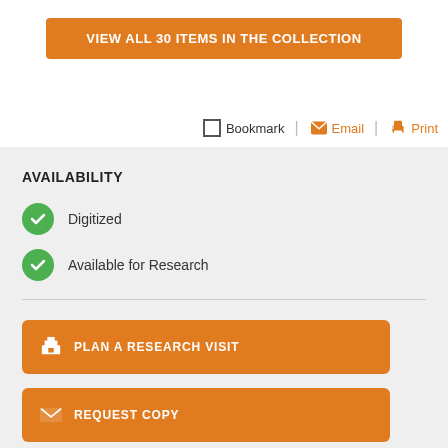VIEW ALL 30 ITEMS IN THE COLLECTION
Bookmark | Email | Print
AVAILABILITY
Digitized
Available for Research
PLAN A RESEARCH VISIT
REQUEST COPY